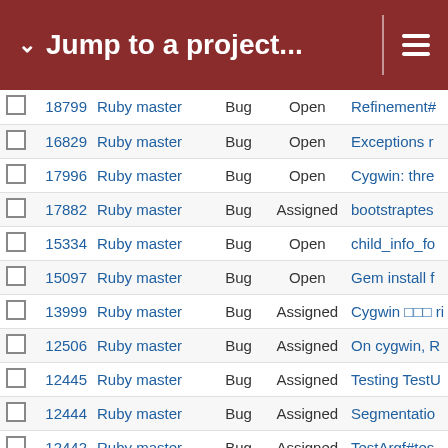Jump to a project...
|  | # | Project | Tracker | Status | Subject |
| --- | --- | --- | --- | --- | --- |
|  | 18799 | Ruby master | Bug | Open | Refinement# |
|  | 16829 | Ruby master | Bug | Open | Exceptions r |
|  | 17996 | Ruby master | Bug | Open | Cygwin: thre |
|  | 17882 | Ruby master | Bug | Assigned | bootstraptes |
|  | 15334 | Ruby master | Bug | Open | child_info_fo |
|  | 15097 | Ruby master | Bug | Open | Gem install f |
|  | 13999 | Ruby master | Bug | Assigned | Cygwin □□□ ri |
|  | 12506 | Ruby master | Bug | Assigned | On cygwin, R |
|  | 12445 | Ruby master | Bug | Assigned | Testing TestU |
|  | 12444 | Ruby master | Bug | Assigned | Segmentatio |
|  | 12442 | Ruby master | Bug | Assigned | TestArgf#tes |
|  | 11840 | Ruby master | Bug | Open | Error with "m |
|  | 9409 | Ruby master | Bug | Open | Cygwin □ "file |
|  | 18783 | Ruby master | Bug | Open | OptionParse |
|  | 18782 | Ruby master | Bug | Open | Race conditi |
|  | 18789 | Ruby master | Bug | Open | make test-bu |
|  | 18763 | Ruby master | Bug | Open | The configur |
|  | 18764 | Ruby master | Bug | Open | Build Error w |
|  | 18758 | Ruby master | Bug | Open | Ruby fails to |
|  | 18759 | Ruby master | Bug | Open | snapshot.rub |